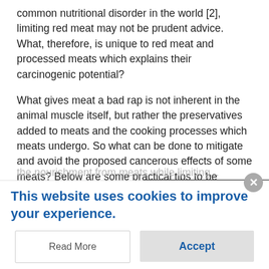common nutritional disorder in the world [2], limiting red meat may not be prudent advice. What, therefore, is unique to red meat and processed meats which explains their carcinogenic potential?
What gives meat a bad rap is not inherent in the animal muscle itself, but rather the preservatives added to meats and the cooking processes which meats undergo. So what can be done to mitigate and avoid the proposed cancerous effects of some meats? Below are some practical tips to be conscious of and implement when meat shopping and preparing meats so that consumers can take full advantage of the nourishment from meats while limiting...
This website uses cookies to improve your experience.